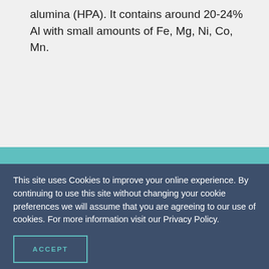alumina (HPA). It contains around 20-24% Al with small amounts of Fe, Mg, Ni, Co, Mn.
This site uses Cookies to improve your online experience. By continuing to use this site without changing your cookie preferences we will assume that you are agreeing to our use of cookies. For more information visit our Privacy Policy.
ACCEPT